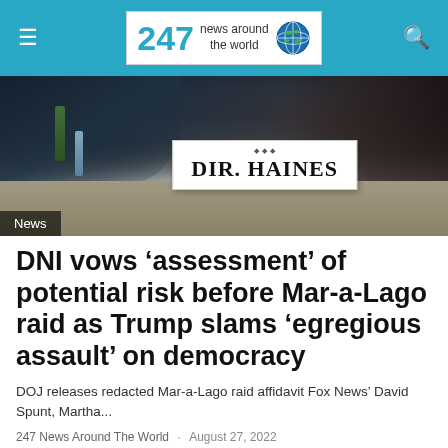247 News Around The World
[Figure (photo): Photo of a hearing room showing a nameplate reading DIR. HAINES, with people seated in background]
News
DNI vows ‘assessment’ of potential risk before Mar-a-Lago raid as Trump slams ‘egregious assault’ on democracy
DOJ releases redacted Mar-a-Lago raid affidavit Fox News’ David Spunt, Martha...
247 News Around The World · August 27, 2022